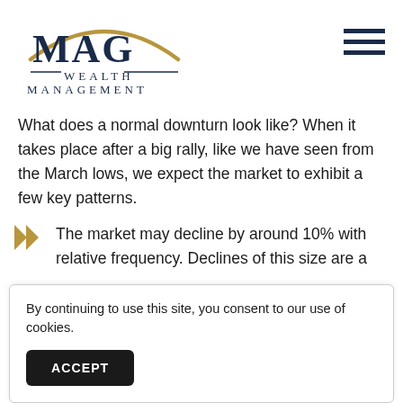[Figure (logo): MAG Wealth Management logo with gold arc above dark blue text]
What does a normal downturn look like? When it takes place after a big rally, like we have seen from the March lows, we expect the market to exhibit a few key patterns.
The market may decline by around 10% with relative frequency. Declines of this size are a
By continuing to use this site, you consent to our use of cookies.